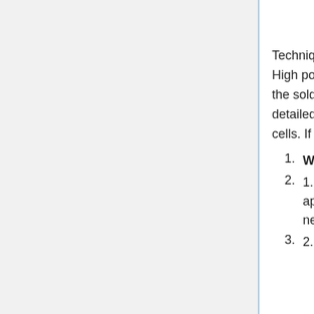hardware store. SN refers to tin, thus 60%, and the rest is lead.
Technique is such that a low power iron or variable power iron is required. High power is generally for plumbing applications. High power will cause the solder to ball up and be of little use. The guide below is the most detailed description we have of how to solder the leads or "tabs" to the cells. If anyone has more info on this topic let us know please!
WORKING QUESTIONS:
1. alternatives to lead? lead free solder that still works for this application? given the lifetime of the panels and amount of PB necessarily a huge factor?
2. Width of solder? many sizes available, usually .31 and .75 are